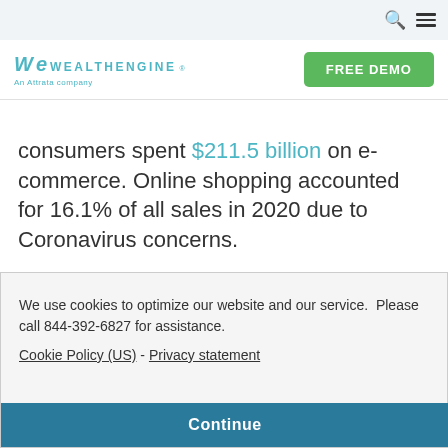WealthEngine — An Attrata company | FREE DEMO
consumers spent $211.5 billion on e-commerce. Online shopping accounted for 16.1% of all sales in 2020 due to Coronavirus concerns.
We use cookies to optimize our website and our service.  Please call 844-392-6827 for assistance.
Cookie Policy (US) - Privacy statement
Continue